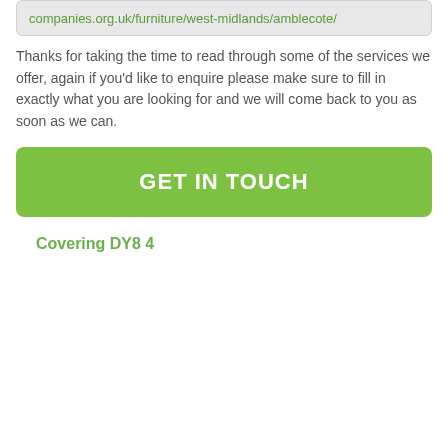companies.org.uk/furniture/west-midlands/amblecote/
Thanks for taking the time to read through some of the services we offer, again if you'd like to enquire please make sure to fill in exactly what you are looking for and we will come back to you as soon as we can.
GET IN TOUCH
Covering DY8 4